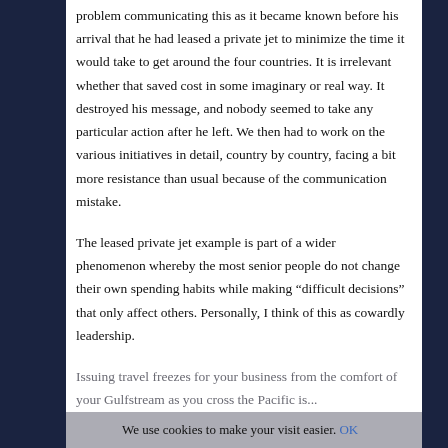problem communicating this as it became known before his arrival that he had leased a private jet to minimize the time it would take to get around the four countries. It is irrelevant whether that saved cost in some imaginary or real way. It destroyed his message, and nobody seemed to take any particular action after he left. We then had to work on the various initiatives in detail, country by country, facing a bit more resistance than usual because of the communication mistake.

The leased private jet example is part of a wider phenomenon whereby the most senior people do not change their own spending habits while making “difficult decisions” that only affect others. Personally, I think of this as cowardly leadership.

Issuing travel freezes for your business from the comfort of your Gulfstream as you cross the Pacific is...
We use cookies to make your visit easier. OK